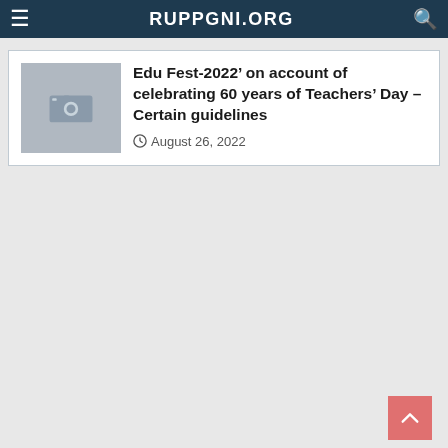RUPPGNI.ORG
Edu Fest-2022’ on account of celebrating 60 years of Teachers’ Day – Certain guidelines
August 26, 2022